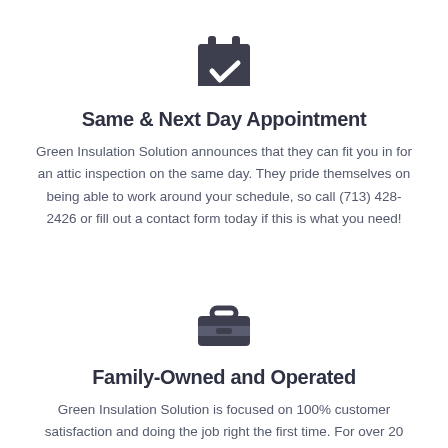[Figure (illustration): Calendar with checkmark icon, dark gray]
Same & Next Day Appointment
Green Insulation Solution announces that they can fit you in for an attic inspection on the same day. They pride themselves on being able to work around your schedule, so call (713) 428-2426 or fill out a contact form today if this is what you need!
[Figure (illustration): Toolbox / briefcase icon, dark gray]
Family-Owned and Operated
Green Insulation Solution is focused on 100% customer satisfaction and doing the job right the first time. For over 20 years they have been providing excellent